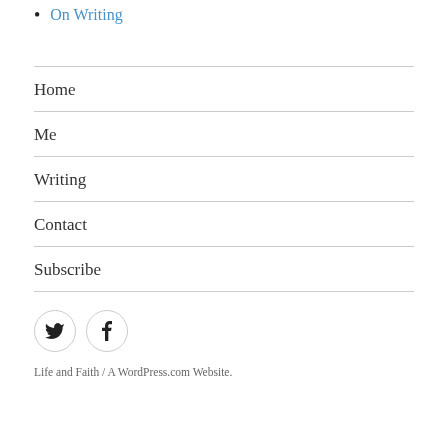On Writing
Home
Me
Writing
Contact
Subscribe
[Figure (illustration): Two circular social media icons: Twitter bird icon and Facebook 'f' icon, both with light grey borders]
Life and Faith / A WordPress.com Website.